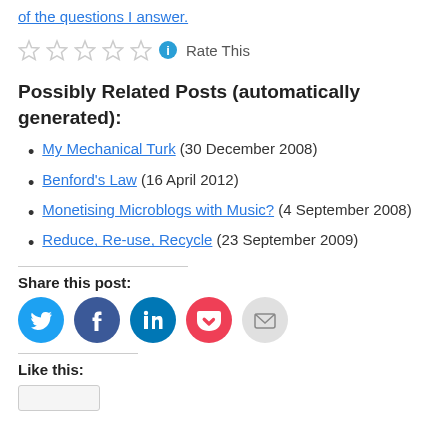of the questions I answer.
[Figure (other): Star rating widget with 5 empty stars and an info icon, followed by 'Rate This' text]
Possibly Related Posts (automatically generated):
My Mechanical Turk (30 December 2008)
Benford's Law (16 April 2012)
Monetising Microblogs with Music? (4 September 2008)
Reduce, Re-use, Recycle (23 September 2009)
Share this post:
[Figure (infographic): Social sharing buttons: Twitter (cyan), Facebook (blue), LinkedIn (teal), Pocket (red), Email (light gray)]
Like this: